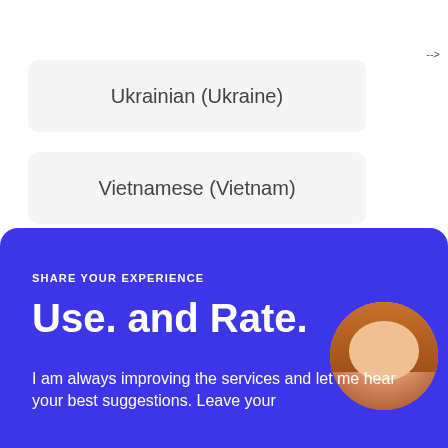Ukrainian (Ukraine)
Vietnamese (Vietnam)
-->
SHARE YOUR EXPERIENCE
Use. and Rate.
I am always improving the services and let me hear your best suggestions. Leave your
[Figure (photo): Circular avatar photo of a woman with long brown/blonde hair against a pink/terracotta background]